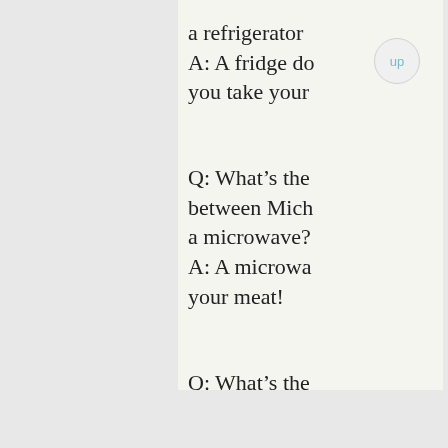a refrigerator A: A fridge do you take your
Q: What's the between Mich a microwave? A: A microwa your meat!
Q: What's the between Mich acne? A: Acne does face until you fifteen.